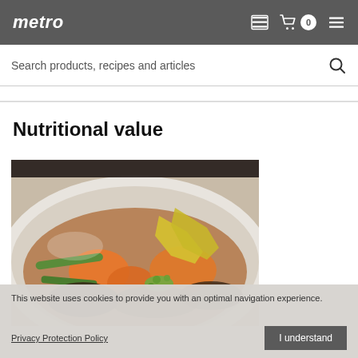metro
Search products, recipes and articles
Nutritional value
[Figure (photo): Close-up photo of a bowl of stew with carrots, green beans, yellow vegetable slices, meat, and green herb garnish on a white plate.]
This website uses cookies to provide you with an optimal navigation experience.
Privacy Protection Policy
I understand